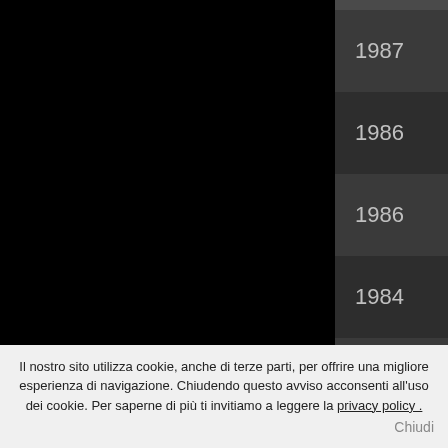| Year | Country | Type |
| --- | --- | --- |
| 1987 | Germany | tube str |
| 1986 | Germany | tube str |
| 1986 | Germany | tube str |
| 1984 | Germany | tube str |
| 1983 | Germany | tube str |
| 1983 | Germany | tube str |
| 1983 | Germany | tube str |
| 1983 | Germany | tube str |
| 1981 | Germany | tube str |
| 1980 | Germany | tube str |
| 1980 | Germany | tube str |
Il nostro sito utilizza cookie, anche di terze parti, per offrire una migliore esperienza di navigazione. Chiudendo questo avviso acconsenti all'uso dei cookie. Per saperne di più ti invitiamo a leggere la privacy policy . Chiudi